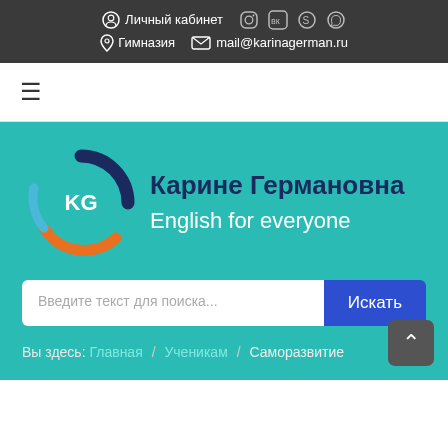Личный кабинет  [Instagram] [VK] [Skype] [WhatsApp]  Гимназия  mail@karinagerman.ru
[Figure (screenshot): Navigation bar with hamburger menu icon on white background]
[Figure (logo): KG logo circular design with dark blue and orange arcs, white KG letters on teal circle, next to site title 'Карине Германовна / English for everyone' on teal background]
Введите текст для поиска...   Искать
Вы здесь: Главная / Ученикам / Саморазвитие